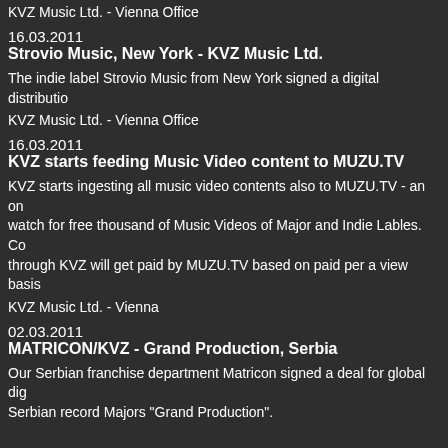KVZ Music Ltd. - Vienna Office
16.03.2011
Strovio Music, New York - KVZ Music Ltd.
The indie label Strovio Music from New York signed a digital distributio
KVZ Music Ltd. - Vienna Office
16.03.2011
KVZ starts feeding Music Video content to MUZU.TV
KVZ starts ingesting all music video contents also to MUZU.TV - an on watch for free thousand of Music Videos of Major and Indie Lables. Co through KVZ will get paid by MUZU.TV based on paid per a view basis
KVZ Music Ltd. - Vienna
02.03.2011
MATRICON/KVZ - Grand Production, Serbia
Our Serbian franchise department Matricon signed a deal for global dig Serbian record Majors "Grand Production".